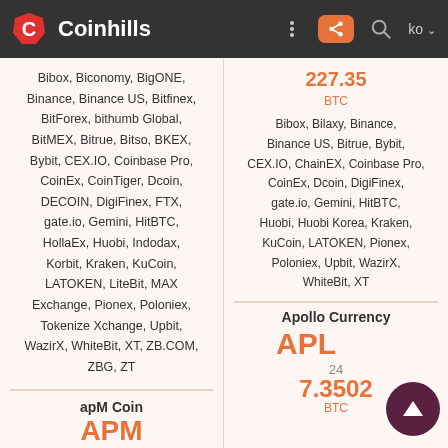Coinhills
Bibox, Biconomy, BigONE, Binance, Binance US, Bitfinex, BitForex, bithumb Global, BitMEX, Bitrue, Bitso, BKEX, Bybit, CEX.IO, Coinbase Pro, CoinEx, CoinTiger, Dcoin, DECOIN, DigiFinex, FTX, gate.io, Gemini, HitBTC, HollaEx, Huobi, Indodax, Korbit, Kraken, KuCoin, LATOKEN, LiteBit, MAX Exchange, Pionex, Poloniex, Tokenize Xchange, Upbit, WazirX, WhiteBit, XT, ZB.COM, ZBG, ZT
apM Coin
227.35 BTC
Bibox, Bilaxy, Binance, Binance US, Bitrue, Bybit, CEX.IO, ChainEX, Coinbase Pro, CoinEx, Dcoin, DigiFinex, gate.io, Gemini, HitBTC, Huobi, Huobi Korea, Kraken, KuCoin, LATOKEN, Pionex, Poloniex, Upbit, WazirX, WhiteBit, XT
Apollo Currency
APL
24
7.3502 BTC